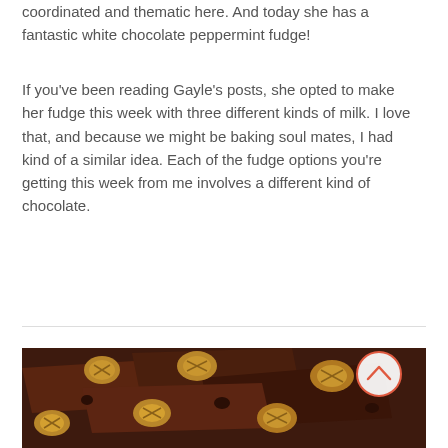coordinated and thematic here. And today she has a fantastic white chocolate peppermint fudge!
If you've been reading Gayle's posts, she opted to make her fudge this week with three different kinds of milk. I love that, and because we might be baking soul mates, I had kind of a similar idea. Each of the fudge options you're getting this week from me involves a different kind of chocolate.
READ MORE
[Figure (photo): Close-up photo of dark chocolate pieces topped with walnuts and dried fruits on a dark background. A circular back-to-top arrow button is visible in the upper right area of the image.]